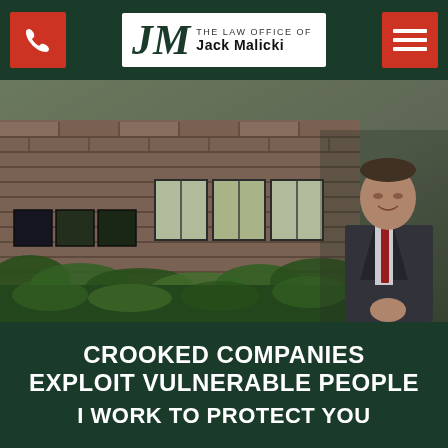The Law Office of Jack Malicki
[Figure (photo): A man in a dark suit with a red tie standing in front of a brick building with large windows and green ivy, outdoor professional photo of attorney Jack Malicki]
CROOKED COMPANIES EXPLOIT VULNERABLE PEOPLE

I WORK TO PROTECT YOU